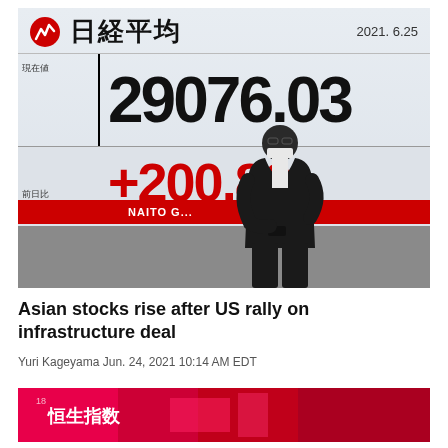[Figure (photo): A man wearing a mask walks past a Japanese Nikkei stock board displaying 29076.03 +200.80, dated 2021.6.25, with a red ticker bar reading NAITO G...]
Asian stocks rise after US rally on infrastructure deal
Yuri Kageyama Jun. 24, 2021 10:14 AM EDT
[Figure (photo): Partial view of another stock board showing Hang Seng index in red/pink with Chinese characters 恒生指数]